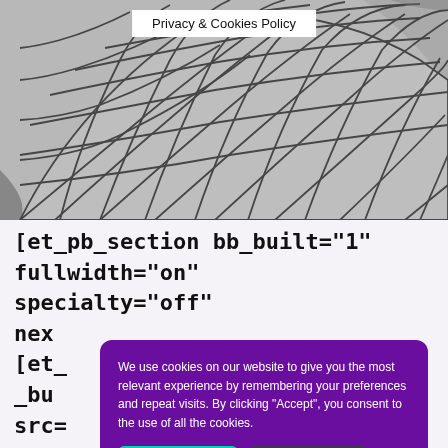[Figure (photo): Black and white architectural photo of a curved glass building facade with geometric diamond/triangular grid pattern, viewed from below looking up]
Privacy & Cookies Policy
[et_pb_section bb_built="1" fullwidth="on" specialty="off"
next
[et_
_bu
src=
We use cookies on our website to give you the most relevant experience by remembering your preferences and repeat visits. By clicking "Accept", you consent to the use of all the cookies.